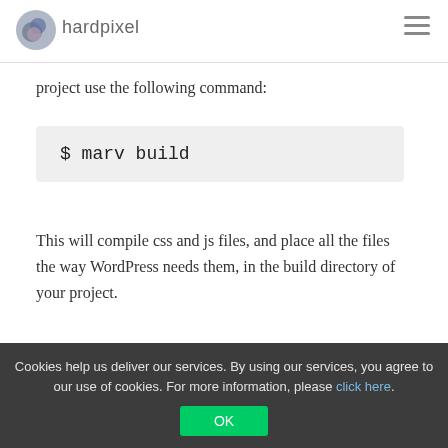hardpixel
project use the following command:
This will compile css and js files, and place all the files the way WordPress needs them, in the build directory of your project.
[Figure (screenshot): Terminal window showing olibia@olibia-desktop: ~/theme-name with create build/archive.php command output]
Cookies help us deliver our services. By using our services, you agree to our use of cookies. For more information, please click here.